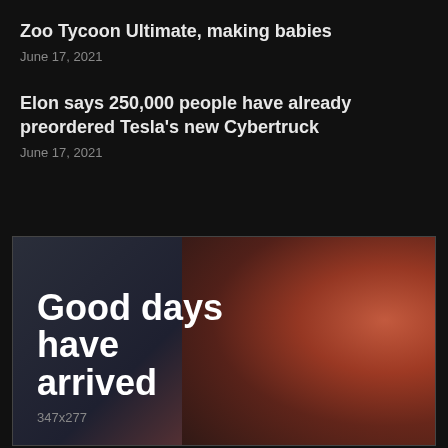Zoo Tycoon Ultimate, making babies
June 17, 2021
Elon says 250,000 people have already preordered Tesla’s new Cybertruck
June 17, 2021
[Figure (photo): Advertisement image showing a woman smiling with warm red/orange lighting, overlaid with text 'Good days have arrived' and dimensions '347x277']